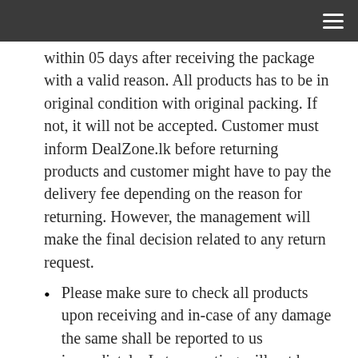☰
within 05 days after receiving the package with a valid reason. All products has to be in original condition with original packing. If not, it will not be accepted. Customer must inform DealZone.lk before returning products and customer might have to pay the delivery fee depending on the reason for returning. However, the management will make the final decision related to any return request.
Please make sure to check all products upon receiving and in-case of any damage the same shall be reported to us immediately. Late reporting will not be entertained.
DealZone.lk Working hours:
Monday to Friday : 9.00 AM - 6.00 PM
Saturday : 9.00 AM - 2.00 PM